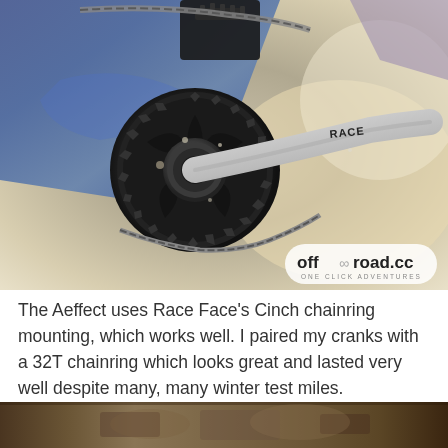[Figure (photo): Close-up photograph of a Race Face Aeffect crankset with Cinch chainring mounting system, showing a 32T chainring and crank arm with RACE logo, on a mountain bike with colorful frame. The off-road.cc watermark is visible in the bottom right corner.]
The Aeffect uses Race Face's Cinch chainring mounting, which works well. I paired my cranks with a 32T chainring which looks great and lasted very well despite many, many winter test miles.
[Figure (photo): Partial photo visible at bottom of page, showing what appears to be a mountain bike component, cropped.]